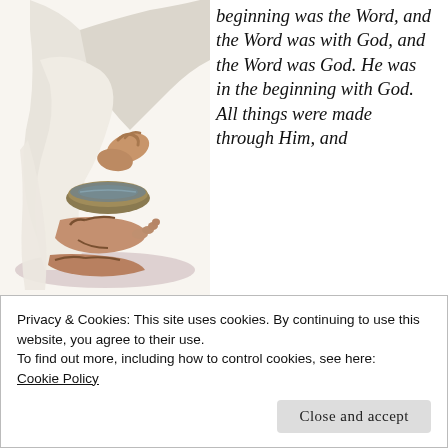[Figure (illustration): Painting of a person washing another person's feet in a bowl, religious scene depicting foot-washing, with sandaled feet visible and hands holding a basin]
beginning was the Word, and the Word was with God, and the Word was God. He was in the beginning with God. All things were made through Him, and
Privacy & Cookies: This site uses cookies. By continuing to use this website, you agree to their use.
To find out more, including how to control cookies, see here:
Cookie Policy